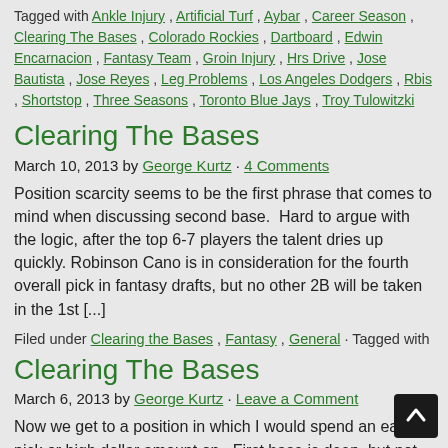Tagged with Ankle Injury , Artificial Turf , Aybar , Career Season , Clearing The Bases , Colorado Rockies , Dartboard , Edwin Encarnacion , Fantasy Team , Groin Injury , Hrs Drive , Jose Bautista , Jose Reyes , Leg Problems , Los Angeles Dodgers , Rbis , Shortstop , Three Seasons , Toronto Blue Jays , Troy Tulowitzki
Clearing The Bases
March 10, 2013 by George Kurtz · 4 Comments
Position scarcity seems to be the first phrase that comes to mind when discussing second base. Hard to argue with the logic, after the top 6-7 players the talent dries up quickly. Robinson Cano is in consideration for the fourth overall pick in fantasy drafts, but no other 2B will be taken in the 1st [...]
Filed under Clearing the Bases , Fantasy , General · Tagged with
Clearing The Bases
March 6, 2013 by George Kurtz · Leave a Comment
Now we get to a position in which I would spend an early pick or high dollar amount on. First base is deep, but not with as many top tiered players as there have been in the past. New York Yankees 1B Mark Teixeira was taken off